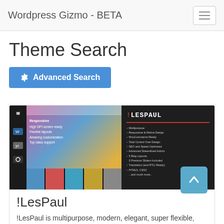Wordpress Gizmo - BETA
Theme Search
Advanced Search
[Figure (screenshot): Screenshot of !LesPaul WordPress theme showing multipurpose layout with colorful hero area, sidebar icons, and feature list on dark panel]
!LesPaul
!LesPaul is multipurpose, modern, elegant, super flexible,